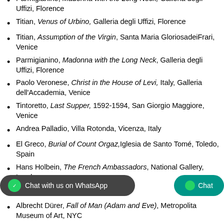Parmigianino, Madonna with the Long Neck, Galleria degli Uffizi, Florence
Titian, Venus of Urbino, Galleria degli Uffizi, Florence
Titian, Assumption of the Virgin, Santa Maria GloriosadeiFrari, Venice
Parmigianino, Madonna with the Long Neck, Galleria degli Uffizi, Florence
Paolo Veronese, Christ in the House of Levi, Italy, Galleria dell'Accademia, Venice
Tintoretto, Last Supper, 1592-1594, San Giorgio Maggiore, Venice
Andrea Palladio, Villa Rotonda, Vicenza, Italy
El Greco, Burial of Count Orgaz, Iglesia de Santo Tomé, Toledo, Spain
Hans Holbein, The French Ambassadors, National Gallery, London
Hans Holbein, Henry VIII, Galleria
Albrecht Dürer, Fall of Man (Adam and Eve), Metropolitan Museum of Art, NYC